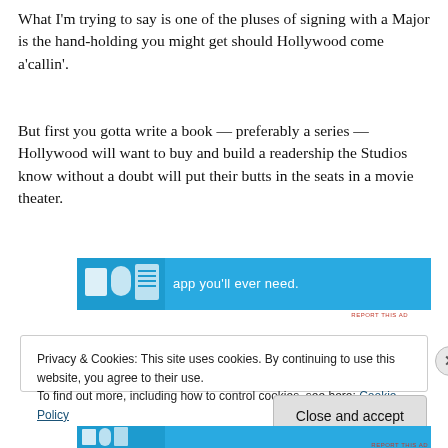What I'm trying to say is one of the pluses of signing with a Major is the hand-holding you might get should Hollywood come a'callin'.
But first you gotta write a book — preferably a series — Hollywood will want to buy and build a readership the Studios know without a doubt will put their butts in the seats in a movie theater.
[Figure (screenshot): Advertisement banner with blue background showing icons and text 'app you'll ever need.']
Privacy & Cookies: This site uses cookies. By continuing to use this website, you agree to their use.
To find out more, including how to control cookies, see here: Cookie Policy
Close and accept